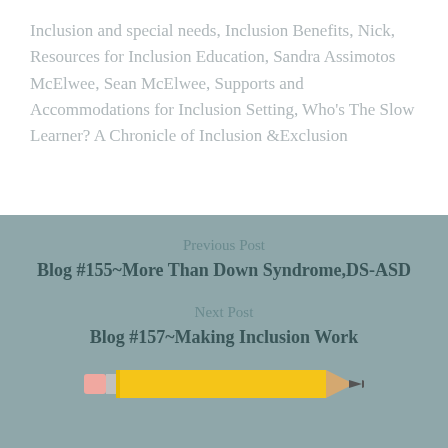Inclusion and special needs, Inclusion Benefits, Nick, Resources for Inclusion Education, Sandra Assimotos McElwee, Sean McElwee, Supports and Accommodations for Inclusion Setting, Who's The Slow Learner? A Chronicle of Inclusion &Exclusion
Previous Post
Blog #155~More Than Down Syndrome,DS-ASD
Next Post
Blog #157~Making Inclusion Work
[Figure (illustration): Pencil illustration at bottom of page]